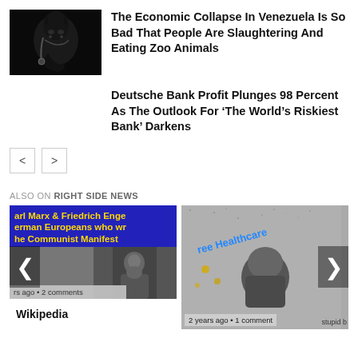[Figure (photo): Dark horse head photo against black background]
The Economic Collapse In Venezuela Is So Bad That People Are Slaughtering And Eating Zoo Animals
Deutsche Bank Profit Plunges 98 Percent As The Outlook For ‘The World’s Riskiest Bank’ Darkens
ALSO ON RIGHT SIDE NEWS
[Figure (screenshot): Card showing Karl Marx & Friedrich Engels article with blue background and yellow text, Wikipedia footer, with left chevron navigation]
[Figure (screenshot): Card showing Free Healthcare article with back of person's head, right chevron navigation, metadata: 2 years ago • 1 comment]